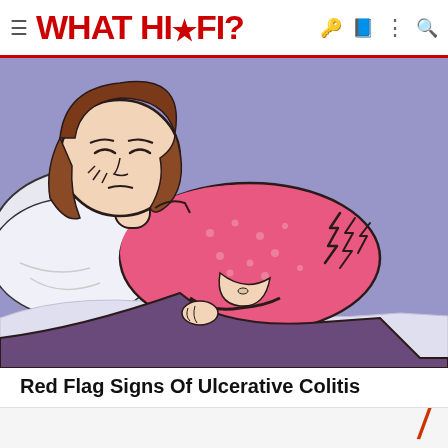WHAT HI·FI?
[Figure (illustration): Cartoon illustration of a woman lying on her side on a pillow, wearing a pink spotted top and dark pants, holding her stomach in pain. The background is purple/lavender. Pain lines radiate from her abdomen.]
Red Flag Signs Of Ulcerative Colitis
Ulcerative Colitis | Search Ads